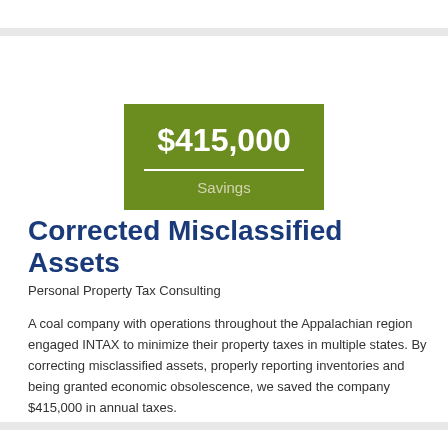[Figure (infographic): Green box displaying '$415,000' in large white bold text above a white horizontal line, with 'Savings' in lighter text below]
Corrected Misclassified Assets
Personal Property Tax Consulting
A coal company with operations throughout the Appalachian region engaged INTAX to minimize their property taxes in multiple states. By correcting misclassified assets, properly reporting inventories and being granted economic obsolescence, we saved the company $415,000 in annual taxes.